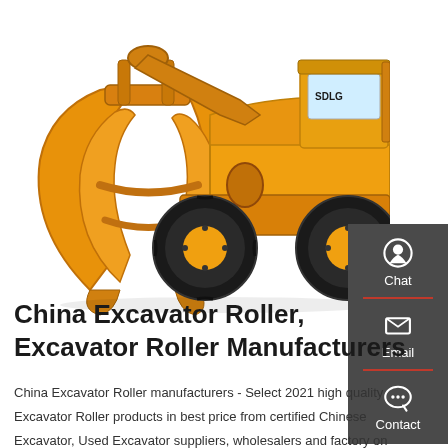[Figure (photo): Yellow SDLG wheel loader/excavator with large orange claw/grapple attachment on white background]
China Excavator Roller, Excavator Roller Manufacturers
China Excavator Roller manufacturers - Select 2021 high quality Excavator Roller products in best price from certified Chinese Excavator, Used Excavator suppliers, wholesalers and factory on Made-in-China.com